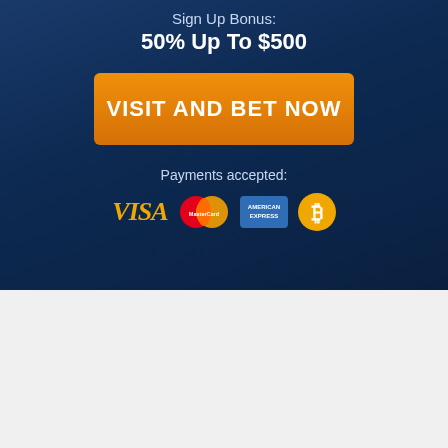Sign Up Bonus:
50% Up To $500
[Figure (other): Orange CTA button with text VISIT AND BET NOW]
Payments accepted:
[Figure (other): Payment method logos: VISA, MasterCard, American Express, Bitcoin]
Home » Online Sportsbook Reviews » BetNow Sportsbook Review
PROS
Large deposit bonus with low rollover.
Strong betting software & prop builder.